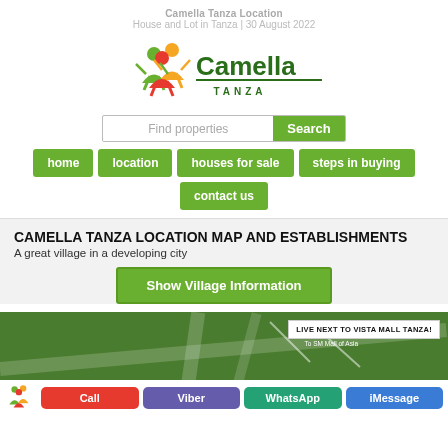Camella Tanza Location
House and Lot in Tanza | 30 August 2022
[Figure (logo): Camella Tanza logo with colorful people figures and green text reading Camella TANZA]
Find properties | Search
home
location
houses for sale
steps in buying
contact us
CAMELLA TANZA LOCATION MAP AND ESTABLISHMENTS
A great village in a developing city
Show Village Information
[Figure (map): Green map area showing Camella Tanza location with roads and labels including LIVE NEXT TO VISTA MALL TANZA! badge and To SM Mall of Asia label. Contact bar at bottom with Call, Viber, WhatsApp, iMessage buttons.]